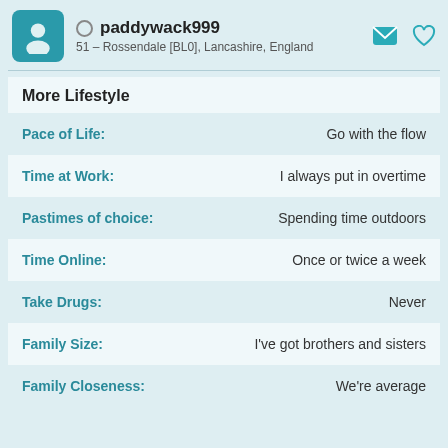paddywack999 — 51 – Rossendale [BL0], Lancashire, England
More Lifestyle
| Attribute | Value |
| --- | --- |
| Pace of Life: | Go with the flow |
| Time at Work: | I always put in overtime |
| Pastimes of choice: | Spending time outdoors |
| Time Online: | Once or twice a week |
| Take Drugs: | Never |
| Family Size: | I've got brothers and sisters |
| Family Closeness: | We're average |